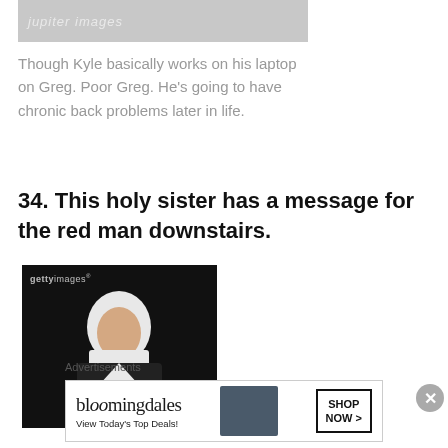[Figure (photo): Partial view of a Jupiter Images watermarked photo (gray/light background, top portion cropped)]
Though Kyle basically works on his laptop on Greg. Poor Greg. He's going to have chronic back problems later in life.
34. This holy sister has a message for the red man downstairs.
[Figure (photo): Getty Images watermarked photo of a nun in white habit against dark background, reaching hands toward camera]
Advertisements
[Figure (infographic): Bloomingdale's advertisement banner: 'bloomingdales / View Today's Top Deals!' with woman in hat image and 'SHOP NOW >' button]